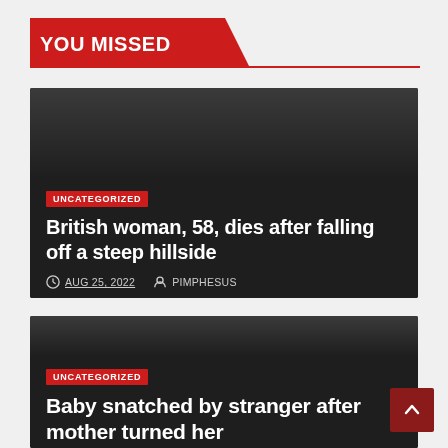YOU MISSED
[Figure (screenshot): Dark article card with gradient background]
UNCATEGORIZED
British woman, 58, dies after falling off a steep hillside
AUG 25, 2022  PIMPHESUS
[Figure (screenshot): Dark article card with gradient background]
UNCATEGORIZED
Baby snatched by stranger after mother turned her